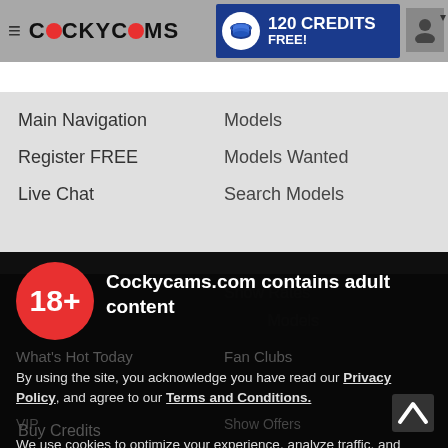≡ COCKYCAMS | 120 CREDITS FREE!
Main Navigation
Models
Register FREE
Models Wanted
Live Chat
Search Models
Info
Show Rates
What's Hot Today
Fan Clubs
VIP
Show Offers
18+ Cockycams.com contains adult content
By using the site, you acknowledge you have read our Privacy Policy, and agree to our Terms and Conditions.
We use cookies to optimize your experience, analyze traffic, and deliver more personalized service. To learn more, please see our Privacy Policy.
I AGREE
Cam2Cam Chat
Buy Credits